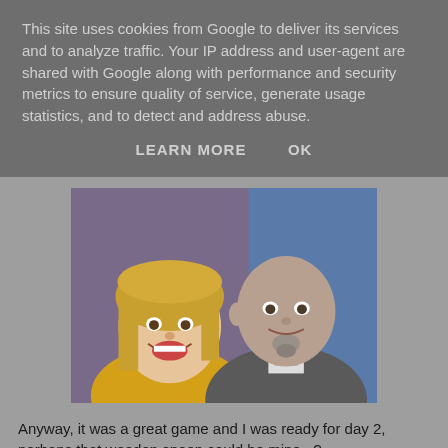This site uses cookies from Google to deliver its services and to analyze traffic. Your IP address and user-agent are shared with Google along with performance and security metrics to ensure quality of service, generate usage statistics, and to detect and address abuse.
LEARN MORE    OK
[Figure (photo): Two men posing together for a selfie-style photo. The man on the left has long blond hair and is wearing a yellow shirt, smiling broadly. The man on the right is bald with a goatee and wearing a grey hoodie, smiling slightly.]
Anyway, it was a great game and I was ready for day 2, perhaps that wooden spoon could be mine...?
40kaddict at 12:05
Share